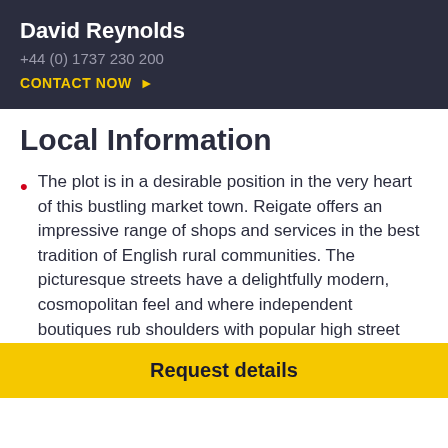David Reynolds
+44 (0) 1737 230 200
CONTACT NOW
Local Information
The plot is in a desirable position in the very heart of this bustling market town. Reigate offers an impressive range of shops and services in the best tradition of English rural communities. The picturesque streets have a delightfully modern, cosmopolitan feel and where independent boutiques rub shoulders with popular high street stores. There are also a good number of cafes and coffee shops including Costa and Cafe Nero. Local restaurants include Pizza Express, Bill's, Cullenders Parkside, Wagamama and Nando's. Reigate Priory Park offers many acres of open parkland and excellent facilities including tennis courts. Skate
Request details